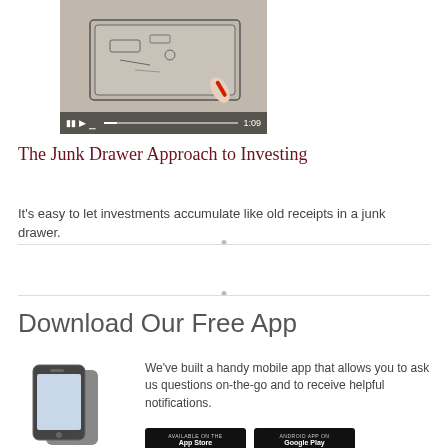[Figure (screenshot): Video thumbnail showing a sketch/drawing of a junk drawer with a hand holding a pen, video controls at bottom showing 1:09 duration]
The Junk Drawer Approach to Investing
It's easy to let investments accumulate like old receipts in a junk drawer.
Download Our Free App
[Figure (illustration): Smartphone device illustration]
We've built a handy mobile app that allows you to ask us questions on-the-go and to receive helpful notifications.